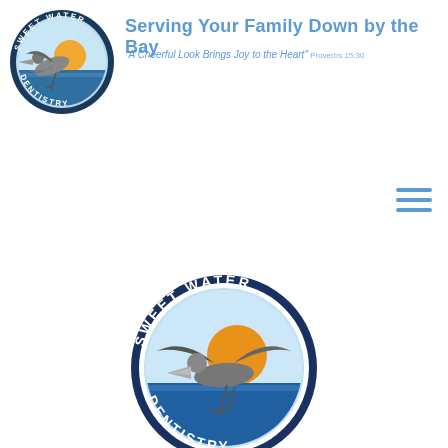[Figure (logo): Sweet Water Dentistry circular logo — small version in header, showing a pelican flying over water with a sun, text 'SWEET WATER' on top arc and 'DENTISTRY' on bottom arc, light blue background]
Serving Your Family Down by the Bay
"A Cheerful Look Brings Joy to the Heart" Proverbs 15:30
[Figure (illustration): Hamburger menu icon — three horizontal blue lines stacked]
[Figure (logo): Sweet Water Dentistry circular logo — large version centered lower on page, showing a pelican flying over water with an orange/yellow sun, text 'SWEET WATER' on top arc and 'DENTISTRY' on bottom arc, light blue background, dark navy border ring]